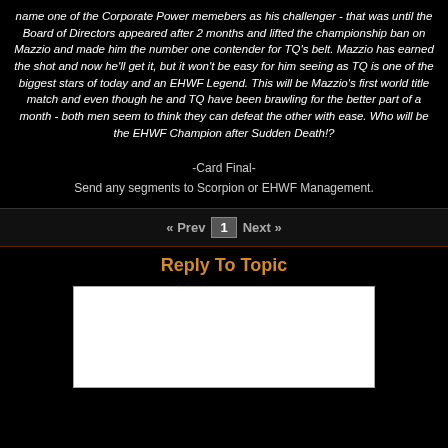name one of the Corporate Power memebers as his challenger - that was until the Board of Directors appeared after 2 months and lifted the championship ban on Mazzio and made him the number one contender for TQ's belt. Mazzio has earned the shot and now he'll get it, but it won't be easy for him seeing as TQ is one of the biggest stars of today and an EHWF Legend. This will be Mazzio's first world title match and even though he and TQ have been brawling for the better part of a month - both men seem to think they can defeat the other with ease. Who will be the EHWF Champion after Sudden Death!?
-Card Final-
Send any segments to Scorpion or EHWF Management.
« Prev  1  Next »
Reply To Topic